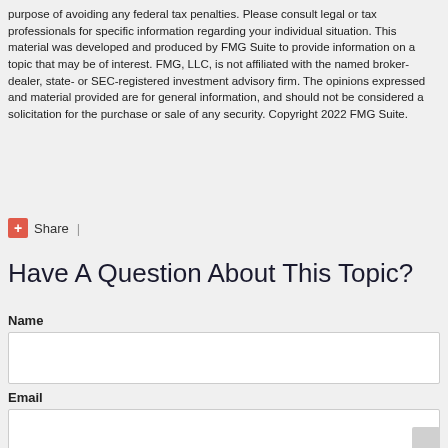purpose of avoiding any federal tax penalties. Please consult legal or tax professionals for specific information regarding your individual situation. This material was developed and produced by FMG Suite to provide information on a topic that may be of interest. FMG, LLC, is not affiliated with the named broker-dealer, state- or SEC-registered investment advisory firm. The opinions expressed and material provided are for general information, and should not be considered a solicitation for the purchase or sale of any security. Copyright 2022 FMG Suite.
+ Share  |
Have A Question About This Topic?
Name
Email